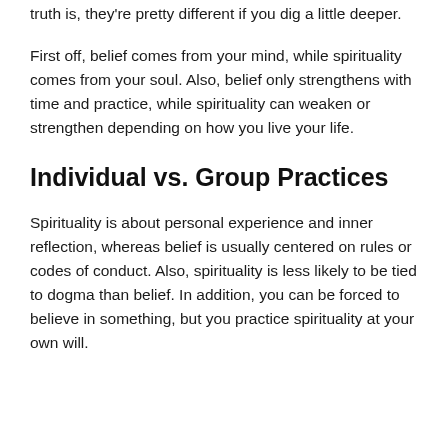truth is, they're pretty different if you dig a little deeper.
First off, belief comes from your mind, while spirituality comes from your soul. Also, belief only strengthens with time and practice, while spirituality can weaken or strengthen depending on how you live your life.
Individual vs. Group Practices
Spirituality is about personal experience and inner reflection, whereas belief is usually centered on rules or codes of conduct. Also, spirituality is less likely to be tied to dogma than belief. In addition, you can be forced to believe in something, but you practice spirituality at your own will.